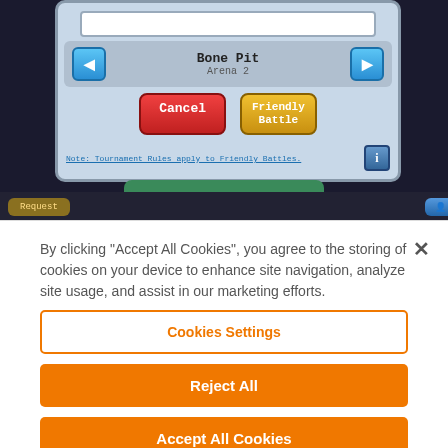[Figure (screenshot): Mobile game screenshot showing a clan battle dialog with 'Bone Pit Arena 2' arena selection, Cancel and Friendly Battle buttons, a note about Tournament Rules applying to Friendly Battles, and a notification bar saying 'Vaner joined the clan'.]
By clicking "Accept All Cookies", you agree to the storing of cookies on your device to enhance site navigation, analyze site usage, and assist in our marketing efforts.
Cookies Settings
Reject All
Accept All Cookies